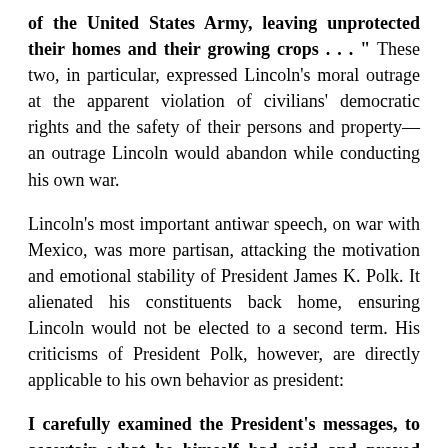of the United States Army, leaving unprotected their homes and their growing crops . . . "  These two, in particular, expressed Lincoln's moral outrage at the apparent violation of civilians' democratic rights and the safety of their persons and property—an outrage Lincoln would abandon while conducting his own war.
Lincoln's most important antiwar speech, on war with Mexico, was more partisan, attacking the motivation and emotional stability of President James K. Polk.  It alienated his constituents back home, ensuring Lincoln would not be elected to a second term.  His criticisms of President Polk, however, are directly applicable to his own behavior as president:
I carefully examined the President's messages, to ascertain what he himself had said and proved upon the point.  The result of this examination was to make the impression, that taking for true, all the President states as facts,  he falls far short of